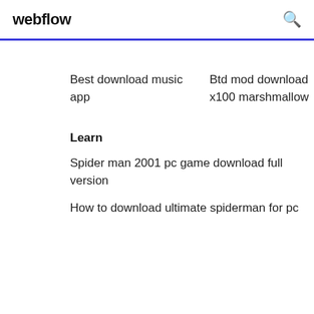webflow
Best download music app
Btd mod download x100 marshmallow
Learn
Spider man 2001 pc game download full version
How to download ultimate spiderman for pc